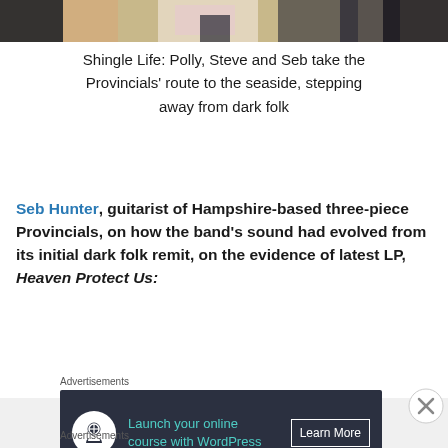[Figure (photo): Top portion of a photo showing three people (Polly, Steve and Seb) outdoors on a pebbly/sandy surface]
Shingle Life: Polly, Steve and Seb take the Provincials’ route to the seaside, stepping away from dark folk
Seb Hunter, guitarist of Hampshire-based three-piece Provincials, on how the band’s sound had evolved from its initial dark folk remit, on the evidence of latest LP, Heaven Protect Us:
[Figure (screenshot): Advertisement banner: dark navy background, WordPress course ad. Text: 'Launch your online course with WordPress' with 'Learn More' button. Logo icon on left.]
[Figure (screenshot): Advertisement banner: Victoria's Secret pink ad. Text: 'SHOP THE COLLECTION' with 'SHOP NOW' button and Victoria's Secret logo.]